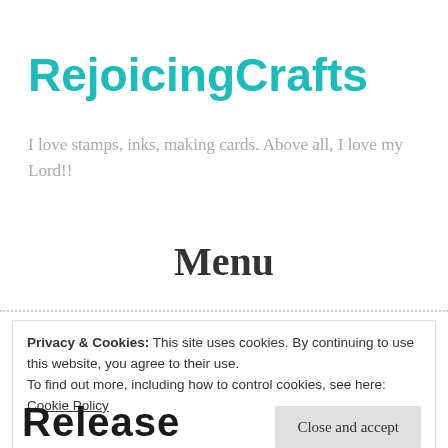RejoicingCrafts
I love stamps, inks, making cards. Above all, I love my Lord!!
Menu
Privacy & Cookies: This site uses cookies. By continuing to use this website, you agree to their use.
To find out more, including how to control cookies, see here: Cookie Policy
Close and accept
Release